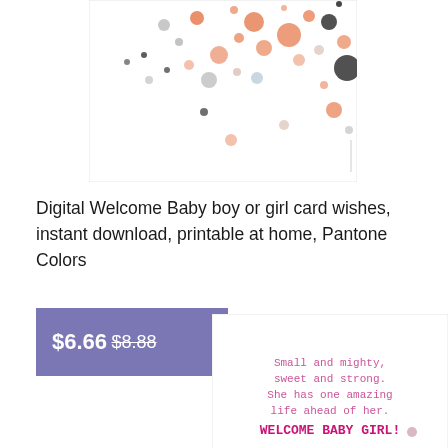[Figure (illustration): A greeting card image with scattered circles and dots in orange, black, and gray on a white background, showing partial view of the card design]
Digital Welcome Baby boy or girl card wishes, instant download, printable at home, Pantone Colors
$6.66 $8.88
[Figure (illustration): A baby girl greeting card with pink and purple text reading 'Small and mighty, sweet and strong. She has one amazing life ahead of her. WELCOME BABY GIRL!' with scattered colorful dots on white background]